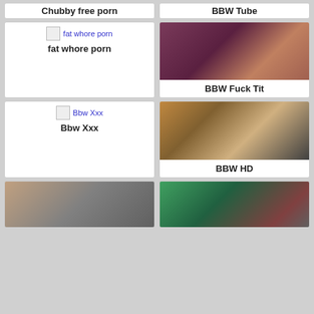Chubby free porn
BBW Tube
[Figure (screenshot): Card with broken image icon and link text 'fat whore porn', bold title 'fat whore porn']
[Figure (photo): Photo thumbnail with text 'BBW Fuck Tit']
[Figure (screenshot): Card with broken image icon and link text 'Bbw Xxx', bold title 'Bbw Xxx']
[Figure (photo): Photo thumbnail with text 'BBW HD']
[Figure (photo): Photo thumbnail bottom left]
[Figure (photo): Photo thumbnail bottom right]